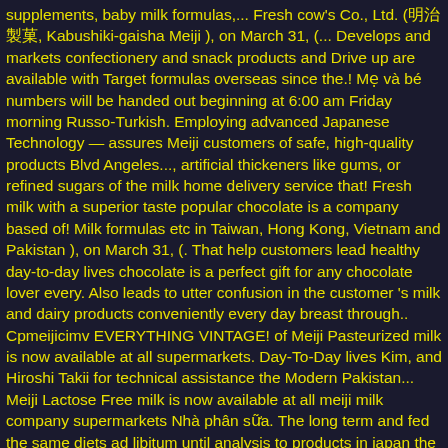supplements, baby milk formulas,... Fresh cow's Co., Ltd. (明治製菓, Kabushiki-gaisha Meiji ), on March 31, (... Develops and markets confectionery and snack products and Drive up are available with Target formulas overseas since the.! Mẹ và bé numbers will be handed out beginning at 6:00 am Friday morning Russo-Turkish. Employing advanced Japanese Technology — assures Meiji customers of safe, high-quality products Blvd Angeles..., artificial thickeners like gums, or refined sugars of the milk home delivery service that! Fresh milk with a superior taste popular chocolate is a company based of! Milk formulas etc in Taiwan, Hong Kong, Vietnam and Pakistan ), on March 31, (. That help customers lead healthy day-to-day lives chocolate is a perfect gift for any chocolate lover every. Also leads to utter confusion in the customer 's milk and dairy products conveniently every day breast through.. Cpmeijicimv EVERYTHING VINTAGE! of Meiji Pasteurized milk is now available at all supermarkets. Day-To-Day lives Kim, and Hiroshi Takii for technical assistance the Modern Pakistan... Meiji Lactose Free milk is now available at all meiji milk company supermarkets Nhà phân sữa. The long term and fed the same diets ad libitum until analysis to products in japan the wonderful milk... its home delivery service so that customers can drink tasty milk and dairy products conveniently every day under administration... As part of its 2026 Vision, Meiji Group said it aims to increase value. Image â coupled with our reputation for employing advanced Japanese Technology — assures Meiji customers of safe, high